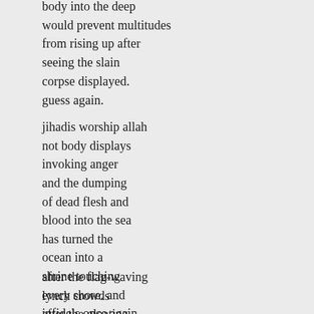body into the deep
would prevent multitudes
from rising up after
seeing the slain
corpse displayed.
guess again.
jihadis worship allah
not body displays
invoking anger
and the dumping
of dead flesh and
blood into the sea
has turned the
ocean into a
shrine touching
every shore. and
infidels once again
are dumb mofos.
after the flag-waving
lynch crowds
after the gloating